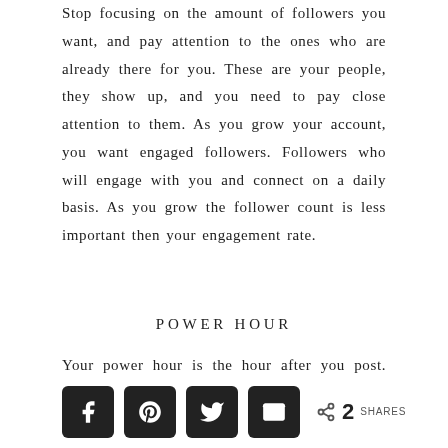Stop focusing on the amount of followers you want, and pay attention to the ones who are already there for you. These are your people, they show up, and you need to pay close attention to them. As you grow your account, you want engaged followers. Followers who will engage with you and connect on a daily basis. As you grow the follower count is less important then your engagement rate.
POWER HOUR
Your power hour is the hour after you post. This time period is so important to increasing your